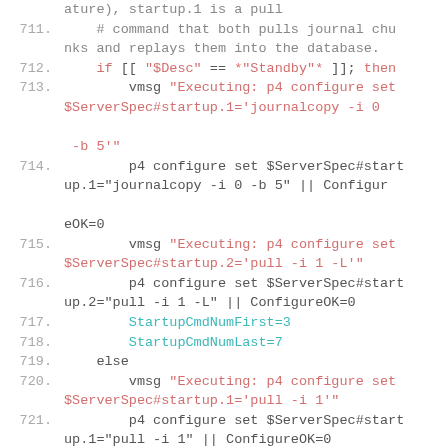Code listing lines 711-725 showing shell script logic for configuring p4 server startup commands based on server description (Standby check).